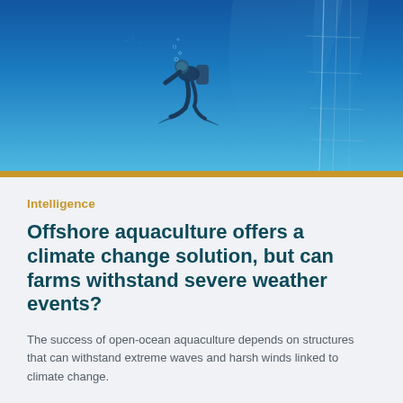[Figure (photo): Scuba diver swimming underwater in clear blue ocean water near aquaculture structures]
Intelligence
Offshore aquaculture offers a climate change solution, but can farms withstand severe weather events?
The success of open-ocean aquaculture depends on structures that can withstand extreme waves and harsh winds linked to climate change.